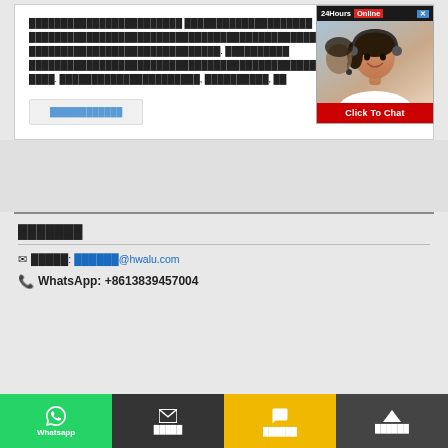[Chinese text block - product/article description in Chinese characters]
[Read more button - Chinese characters]
[Figure (screenshot): 24Hours Online chat popup with woman wearing headset and Click To Chat button]
[Chinese: Contact Us / 联系我们]
[Email icon] [Chinese label]: [Chinese chars]@hwalu.com
[Phone icon] WhatsApp: +8613839457004
Whatsapp | [Chinese email label] | [Chinese chat label] | [Chinese top label]